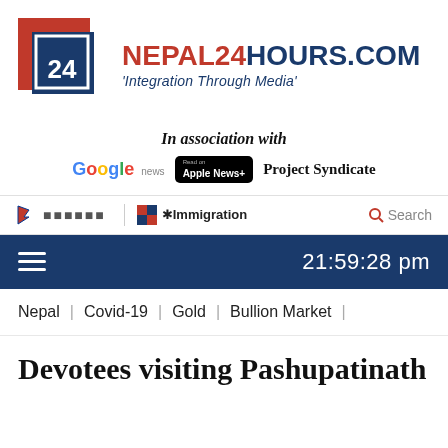[Figure (logo): Nepal24Hours.com logo with red and blue overlapping square icon and text 'NEPAL24HOURS.COM' with tagline 'Integration Through Media']
In association with
[Figure (logo): Google News logo, Apple News+ badge, and Project Syndicate logo]
नेपाली | Immigration | Search
21:59:28 pm
Nepal | Covid-19 | Gold | Bullion Market |
Devotees visiting Pashupatinath